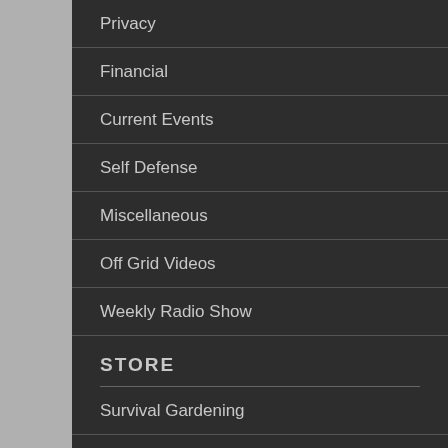Privacy
Financial
Current Events
Self Defense
Miscellaneous
Off Grid Videos
Weekly Radio Show
STORE
Survival Gardening
Extreme Survival
Natural Health
Off-Grid Foods
Off-Grid Living